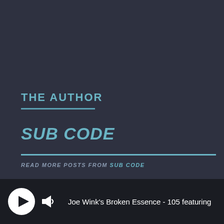THE AUTHOR
SUB CODE
READ MORE POSTS FROM SUB CODE
[Figure (screenshot): Audio player bar at the bottom showing a play button, volume icon, and track title: Joe Wink's Broken Essence - 105 featuring]